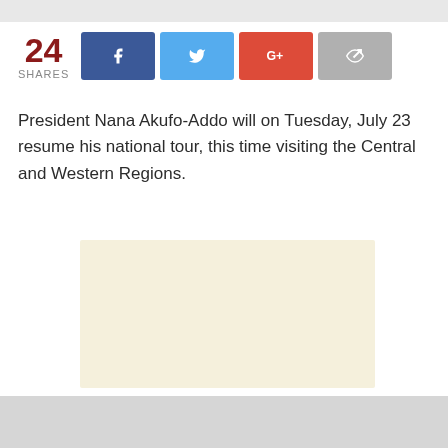[Figure (other): Social share bar with count 24 SHARES, Facebook button, Twitter button, Google+ button, and share/forward button]
President Nana Akufo-Addo will on Tuesday, July 23 resume his national tour, this time visiting the Central and Western Regions.
[Figure (other): Advertisement placeholder block with light cream/beige background color]